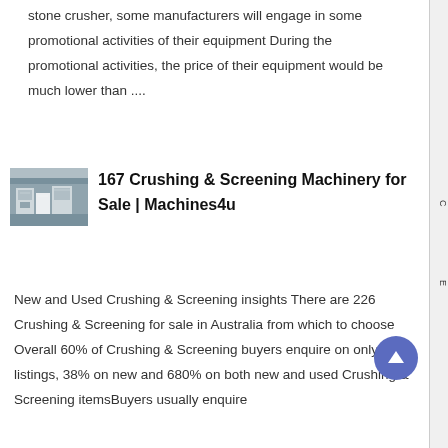stone crusher, some manufacturers will engage in some promotional activities of their equipment During the promotional activities, the price of their equipment would be much lower than ....
[Figure (photo): Thumbnail photo of crushing and screening machinery in an industrial setting]
167 Crushing & Screening Machinery for Sale | Machines4u
New and Used Crushing & Screening insights There are 226 Crushing & Screening for sale in Australia from which to choose Overall 60% of Crushing & Screening buyers enquire on only used listings, 38% on new and 680% on both new and used Crushing & Screening itemsBuyers usually enquire